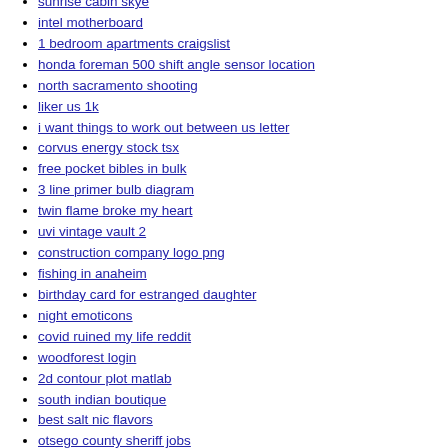sunrise cabin skye
intel motherboard
1 bedroom apartments craigslist
honda foreman 500 shift angle sensor location
north sacramento shooting
liker us 1k
i want things to work out between us letter
corvus energy stock tsx
free pocket bibles in bulk
3 line primer bulb diagram
twin flame broke my heart
uvi vintage vault 2
construction company logo png
fishing in anaheim
birthday card for estranged daughter
night emoticons
covid ruined my life reddit
woodforest login
2d contour plot matlab
south indian boutique
best salt nic flavors
otsego county sheriff jobs
crictl pull image
sculpsure chin cost
buy a fake social security card